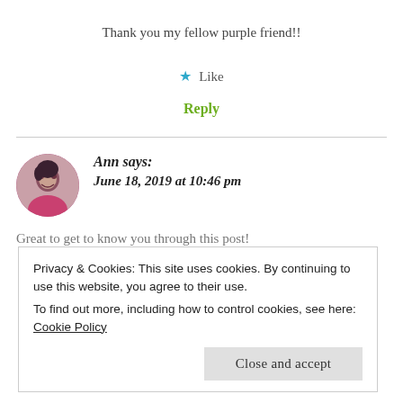Thank you my fellow purple friend!!
★ Like
Reply
Ann says:
June 18, 2019 at 10:46 pm
Great to get to know you through this post!
Privacy & Cookies: This site uses cookies. By continuing to use this website, you agree to their use.
To find out more, including how to control cookies, see here: Cookie Policy
Close and accept